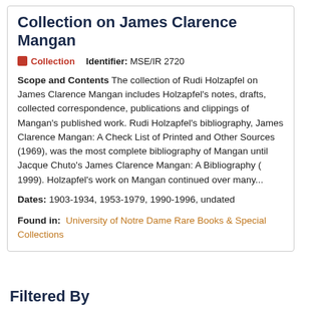Collection on James Clarence Mangan
Collection   Identifier: MSE/IR 2720
Scope and Contents The collection of Rudi Holzapfel on James Clarence Mangan includes Holzapfel's notes, drafts, collected correspondence, publications and clippings of Mangan's published work. Rudi Holzapfel's bibliography, James Clarence Mangan: A Check List of Printed and Other Sources (1969), was the most complete bibliography of Mangan until Jacque Chuto's James Clarence Mangan: A Bibliography ( 1999). Holzapfel's work on Mangan continued over many...
Dates: 1903-1934, 1953-1979, 1990-1996, undated
Found in:  University of Notre Dame Rare Books & Special Collections
Filtered By